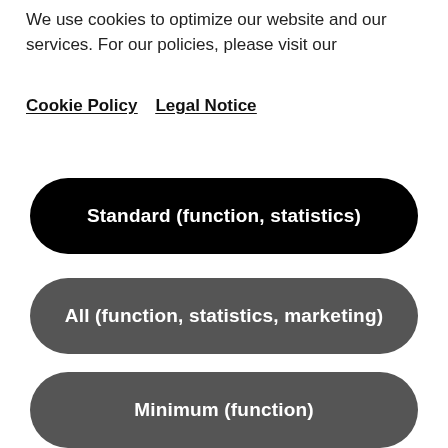We use cookies to optimize our website and our services. For our policies, please visit our
Cookie Policy    Legal Notice
Standard (function, statistics)
All (function, statistics, marketing)
Minimum (function)